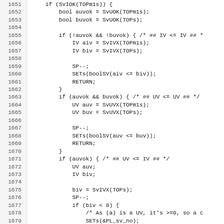[Figure (other): Source code listing with line numbers 1651-1682, showing C-style code with conditionals and function calls.]